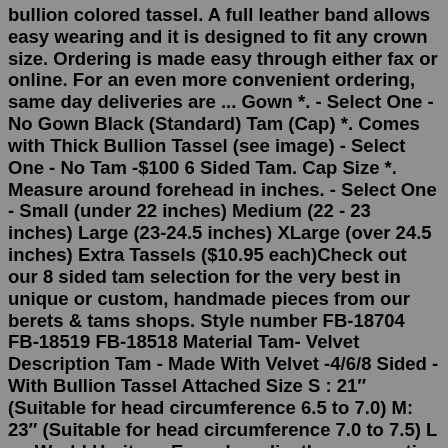bullion colored tassel. A full leather band allows easy wearing and it is designed to fit any crown size. Ordering is made easy through either fax or online. For an even more convenient ordering, same day deliveries are ... Gown *. - Select One - No Gown Black (Standard) Tam (Cap) *. Comes with Thick Bullion Tassel (see image) - Select One - No Tam -$100 6 Sided Tam. Cap Size *. Measure around forehead in inches. - Select One - Small (under 22 inches) Medium (22 - 23 inches) Large (23-24.5 inches) XLarge (over 24.5 inches) Extra Tassels ($10.95 each)Check out our 8 sided tam selection for the very best in unique or custom, handmade pieces from our berets & tams shops. Style number FB-18704 FB-18519 FB-18518 Material Tam- Velvet Description Tam - Made With Velvet -4/6/8 Sided -With Bullion Tassel Attached Size S : 21″ (Suitable for head circumference 6.5 to 7.0) M: 23″ (Suitable for head circumference 7.0 to 7.5) L : ...World Heritage Encyclopedia, the aggregation of the largest online encyclopedias available, and the most definitive collection ever assembled.Newrara